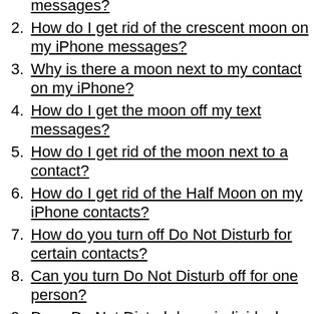messages?
How do I get rid of the crescent moon on my iPhone messages?
Why is there a moon next to my contact on my iPhone?
How do I get the moon off my text messages?
How do I get rid of the moon next to a contact?
How do I get rid of the Half Moon on my iPhone contacts?
How do you turn off Do Not Disturb for certain contacts?
Can you turn Do Not Disturb off for one person?
Does Do Not Disturb have individual